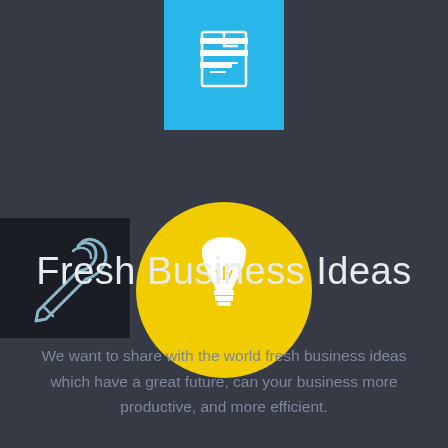[Figure (infographic): Blue square icon with a document/page symbol in white, centered at top]
[Figure (infographic): Black square with white eyedropper/pen tool icon, positioned at top-left]
[Figure (infographic): Large yellow circle with white lightbulb icon in center]
Fresh Business Ideas
We want to share with the world fresh business ideas which have a great future, can your business more productive, and more efficient.